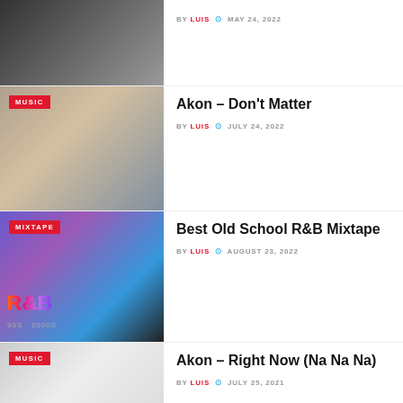[Figure (photo): Partial view of a music post thumbnail - woman with dark hair (No Air by Chris Brown), cropped at top]
BY LUIS  MAY 24, 2022
[Figure (photo): Akon Don't Matter album cover - Akon leaning with hand on chin, white clothing, MUSIC badge]
Akon – Don't Matter
BY LUIS  JULY 24, 2022
[Figure (photo): Best Old School R&B Mixtape thumbnail - man in white hat, R&B text, 90s-2000s, MIXTAPE badge]
Best Old School R&B Mixtape
BY LUIS  AUGUST 23, 2022
[Figure (photo): Akon Right Now Na Na Na thumbnail - partial, MUSIC badge]
Akon – Right Now (Na Na Na)
BY LUIS  JULY 25, 2021